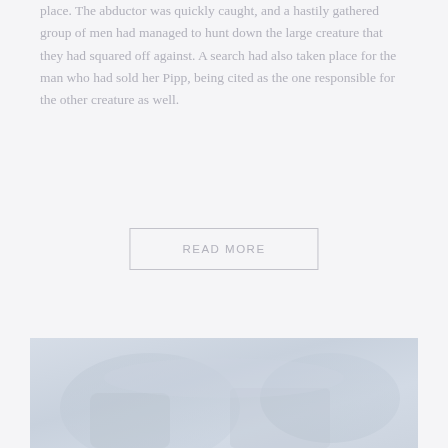place. The abductor was quickly caught, and a hastily gathered group of men had managed to hunt down the large creature that they had squared off against. A search had also taken place for the man who had sold her Pipp, being cited as the one responsible for the other creature as well.
READ MORE
CHAPTER TWO
Pipp: Week 2
SUPERNATURAL CREATURE
[Figure (photo): A faded, light-toned photographic image occupying the bottom portion of the page, showing indistinct shapes in blue-grey tones.]